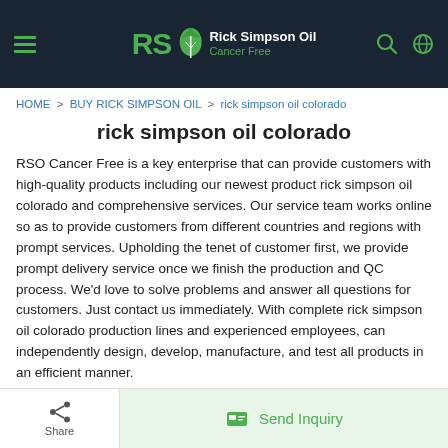Rick Simpson Oil Cancer Free
HOME > BUY RICK SIMPSON OIL > rick simpson oil colorado
rick simpson oil colorado
RSO Cancer Free is a key enterprise that can provide customers with high-quality products including our newest product rick simpson oil colorado and comprehensive services. Our service team works online so as to provide customers from different countries and regions with prompt services. Upholding the tenet of customer first, we provide prompt delivery service once we finish the production and QC process. We'd love to solve problems and answer all questions for customers. Just contact us immediately. With complete rick simpson oil colorado production lines and experienced employees, can independently design, develop, manufacture, and test all products in an efficient manner.